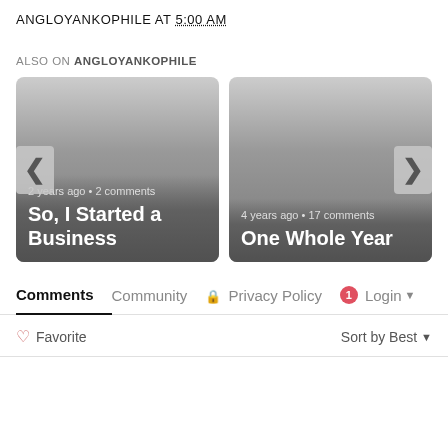ANGLOYANKOPHILE AT 5:00 AM
ALSO ON ANGLOYANKOPHILE
[Figure (screenshot): Two article cards side by side. Left card: '2 years ago • 2 comments' and title 'So, I Started a Business'. Right card: '4 years ago • 17 comments' and title 'One Whole Year'. Navigation arrows on left and right sides.]
Comments | Community | Privacy Policy | 1 | Login
Favorite  Sort by Best